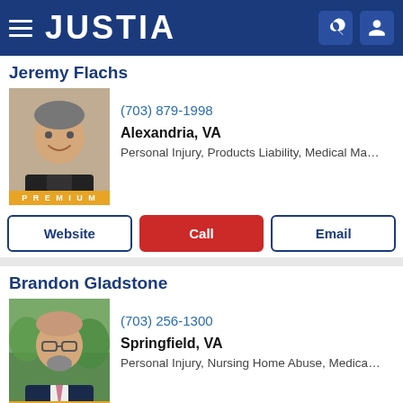JUSTIA
Jeremy Flachs
(703) 879-1998
Alexandria, VA
Personal Injury, Products Liability, Medical Ma...
Brandon Gladstone
(703) 256-1300
Springfield, VA
Personal Injury, Nursing Home Abuse, Medica...